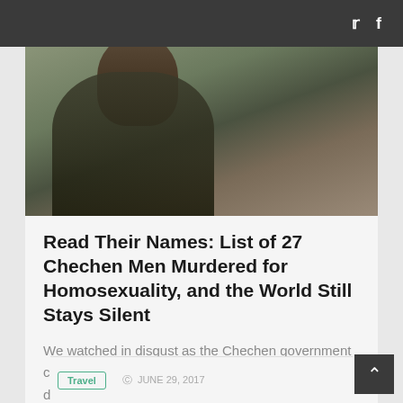Twitter  Facebook (social icon links)
[Figure (photo): A man with a beard wearing camouflage military uniform with a patch on the shoulder, photographed from the side/front in a wooden interior setting.]
Read Their Names: List of 27 Chechen Men Murdered for Homosexuality, and the World Still Stays Silent
We watched in disgust as the Chechen government completely lied to Vice News' crew about the detainment, torture, and killing…
Travel  JUNE 29, 2017